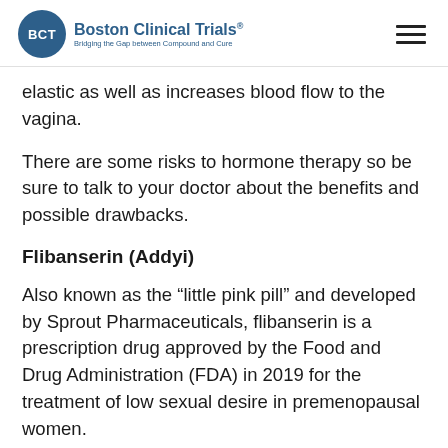Boston Clinical Trials® - Bridging the Gap between Compound and Cure
elastic as well as increases blood flow to the vagina.
There are some risks to hormone therapy so be sure to talk to your doctor about the benefits and possible drawbacks.
Flibanserin (Addyi)
Also known as the “little pink pill” and developed by Sprout Pharmaceuticals, flibanserin is a prescription drug approved by the Food and Drug Administration (FDA) in 2019 for the treatment of low sexual desire in premenopausal women.